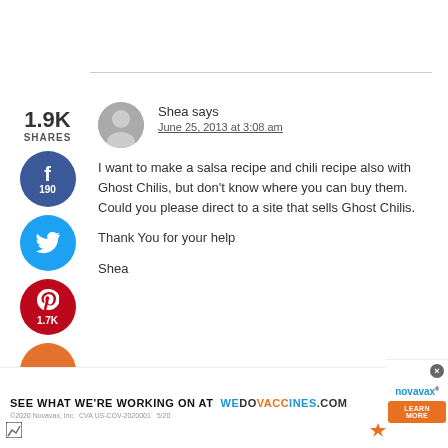1.9K SHARES
[Figure (infographic): Social share buttons: Facebook (190), Twitter, Pinterest (1.7K), Yummly]
[Figure (photo): Gray avatar / user silhouette icon]
Shea says
June 25, 2013 at 3:08 am
I want to make a salsa recipe and chili recipe also with Ghost Chilis, but don't know where you can buy them. Could you please direct to a site that sells Ghost Chilis.

Thank You for your help

Shea
[Figure (infographic): Advertisement banner: SEE WHAT WE'RE WORKING ON AT wedovaccines.com with Novavax logo and LEARN MORE button]